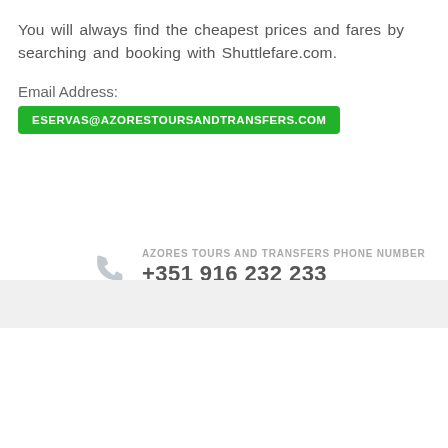You will always find the cheapest prices and fares by searching and booking with Shuttlefare.com.
Email Address:
ESERVAS@AZORESTOURSANDTRANSFERS.COM
AZORES TOURS AND TRANSFERS PHONE NUMBER +351 916 232 233